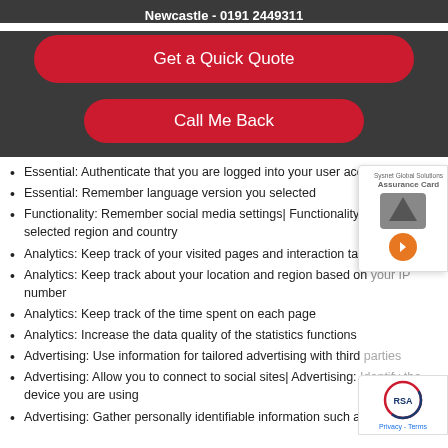Newcastle - 0191 2449311
Get a Quick Quote
Call Me Back
Essential: Authenticate that you are logged into your user account
Essential: Remember language version you selected
Functionality: Remember social media settings| Functionality: Remember selected region and country
Analytics: Keep track of your visited pages and interaction taken
Analytics: Keep track about your location and region based on your IP number
Analytics: Keep track of the time spent on each page
Analytics: Increase the data quality of the statistics functions
Advertising: Use information for tailored advertising with third parties
Advertising: Allow you to connect to social sites| Advertising: Identify the device you are using
Advertising: Gather personally identifiable information such as name